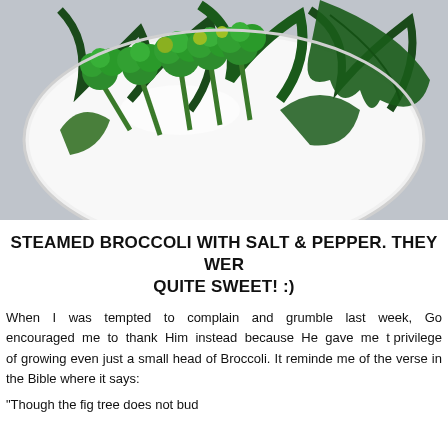[Figure (photo): A white rectangular plate with steamed broccoli and leafy greens on a grey surface, photographed from above]
STEAMED BROCCOLI WITH SALT & PEPPER. THEY WERE QUITE SWEET! :)
When I was tempted to complain and grumble last week, God encouraged me to thank Him instead because He gave me the privilege of growing even just a small head of Broccoli. It reminded me of the verse in the Bible where it says:
"Though the fig tree does not bud